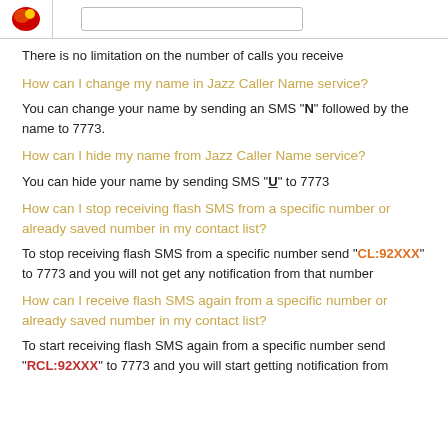There is no limitation on the number of calls you receive
How can I change my name in Jazz Caller Name service?
You can change your name by sending an SMS "N" followed by the name to 7773.
How can I hide my name from Jazz Caller Name service?
You can hide your name by sending SMS "U" to 7773
How can I stop receiving flash SMS from a specific number or already saved number in my contact list?
To stop receiving flash SMS from a specific number send "CL:92XXX" to 7773 and you will not get any notification from that number
How can I receive flash SMS again from a specific number or already saved number in my contact list?
To start receiving flash SMS again from a specific number send "RCL:92XXX" to 7773 and you will start getting notification from